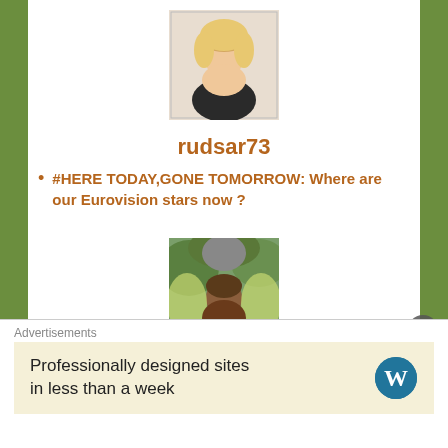[Figure (photo): Profile photo of rudsar73 - blonde woman]
rudsar73
#HERE TODAY,GONE TOMORROW: Where are our Eurovision stars now ?
[Figure (photo): Profile photo of sadeakintola - person with wings costume]
sadeakintola
#AUSTRALIA : MEET THE OTHER 5 ARTISTS!
Advertisements
Professionally designed sites in less than a week